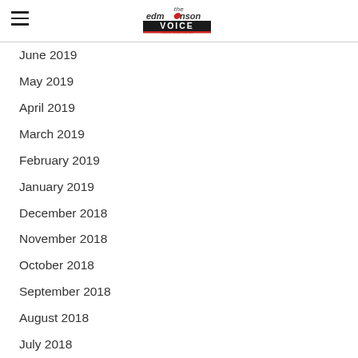The Edmonson Voice
June 2019
May 2019
April 2019
March 2019
February 2019
January 2019
December 2018
November 2018
October 2018
September 2018
August 2018
July 2018
June 2018
May 2018
April 2018
March 2018
February 2018
January 2018